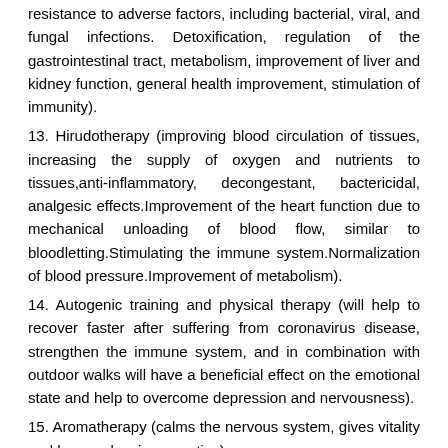resistance to adverse factors, including bacterial, viral, and fungal infections. Detoxification, regulation of the gastrointestinal tract, metabolism, improvement of liver and kidney function, general health improvement, stimulation of immunity).
13. Hirudotherapy (improving blood circulation of tissues, increasing the supply of oxygen and nutrients to tissues,anti-inflammatory, decongestant, bactericidal, analgesic effects.Improvement of the heart function due to mechanical unloading of blood flow, similar to bloodletting.Stimulating the immune system.Normalization of blood pressure.Improvement of metabolism).
14. Autogenic training and physical therapy (will help to recover faster after suffering from coronavirus disease, strengthen the immune system, and in combination with outdoor walks will have a beneficial effect on the emotional state and help to overcome depression and nervousness).
15. Aromatherapy (calms the nervous system, gives vitality and has analgesic properties).